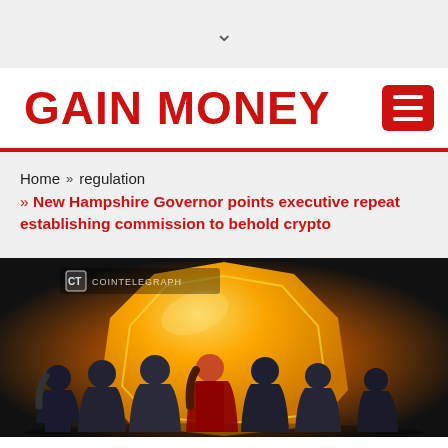GAIN MONEY
Home » regulation » New Hampshire Governor points executive repeat establishing commission to behold crypto
[Figure (illustration): Illustration showing several people standing with backs to viewer facing a large golden cryptocurrency coin, with Cointelegraph logo watermark in top-left corner]